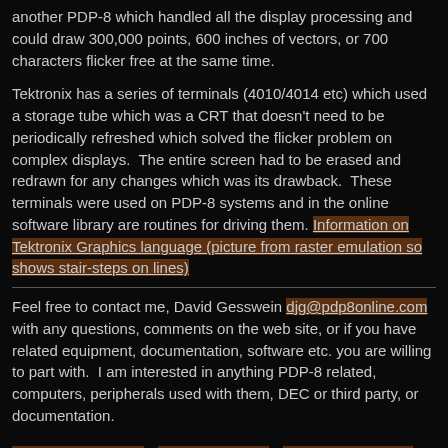another PDP-8 which handled all the display processing and could draw 300,000 points, 600 inches of vectors, or 700 characters flicker free at the same time.
Tektronix has a series of terminals (4010/4014 etc) which used a storage tube which was a CRT that doesn't need to be periodically refreshed which solved the flicker problem on complex displays.  The entire screen had to be erased and redrawn for any changes which was its drawback.  These terminals were used on PDP-8 systems and in the online software library are routines for driving them. Information on Tektronix Graphics language (picture from raster emulation so shows stair-steps on lines)
Feel free to contact me, David Gesswein djg@pdp8online.com with any questions, comments on the web site, or if you have related equipment, documentation, software etc. you are willing to part with.  I am interested in anything PDP-8 related, computers, peripherals used with them, DEC or third party, or documentation.
PDP-8 Home Page   PDP-8 Site Map   PDP-8 Site Search